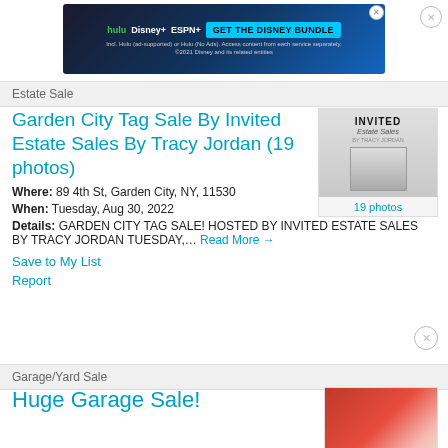[Figure (screenshot): Disney Bundle advertisement banner with Hulu, Disney+, ESPN+ logos and 'GET THE DISNEY BUNDLE' call to action button on dark blue background]
Estate Sale
Garden City Tag Sale By Invited Estate Sales By Tracy Jordan (19 photos)
[Figure (photo): Invited Estate Sales by Tracy Jordan logo/thumbnail showing a door image, with '19 photos' caption below]
Where: 89 4th St, Garden City, NY, 11530
When: Tuesday, Aug 30, 2022
Details: GARDEN CITY TAG SALE! HOSTED BY INVITED ESTATE SALES BY TRACY JORDAN TUESDAY,… Read More →
Save to My List
Report
Garage/Yard Sale
Huge Garage Sale!